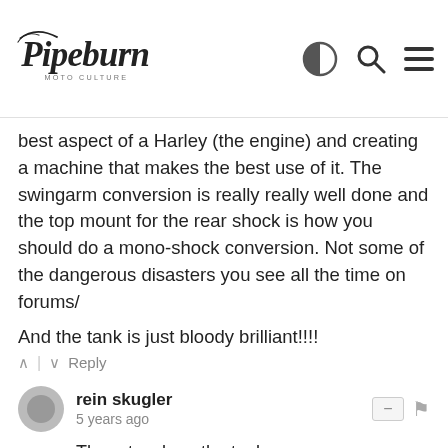[Figure (logo): Pipeburn moto culture cursive logo]
best aspect of a Harley (the engine) and creating a machine that makes the best use of it. The swingarm conversion is really really well done and the top mount for the rear shock is how you should do a mono-shock conversion. Not some of the dangerous disasters you see all the time on forums/
And the tank is just bloody brilliant!!!!
↑ | ↓ Reply
rein skugler
5 years ago
The artwork on the tank ...
1 ↑ | ↓ Reply
Andrew@Pipeburn → rein skugler
5 years ago
Not sure about you, but I like me a bit of old school pin striping.